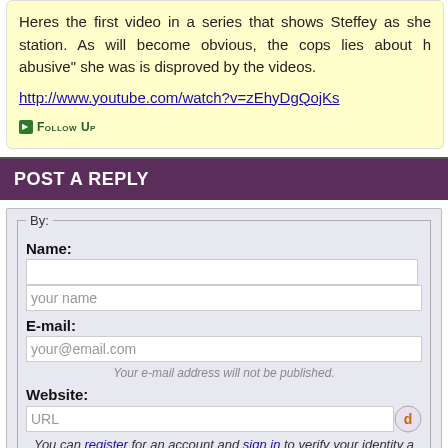Heres the first video in a series that shows Steffey as she station. As will become obvious, the cops lies about h abusive" she was is disproved by the videos.
http://www.youtube.com/watch?v=zEhyDgQojKs
Follow Up
POST A REPLY
By:
Name:
your name
E-mail:
your@email.com
Your e-mail address will not be published.
Website:
URL
You can register for an account and sign in to verify your identity a
Sign in with OpenI
Reply to "Nick Manley" · The Curious "Deviant"